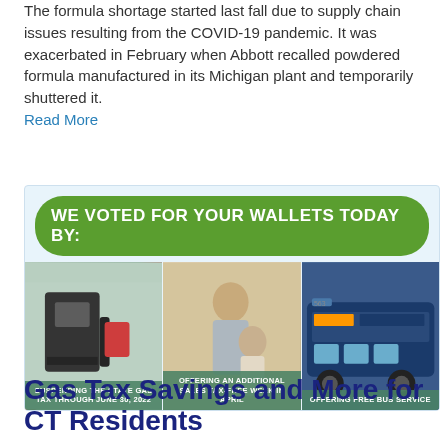The formula shortage started last fall due to supply chain issues resulting from the COVID-19 pandemic. It was exacerbated in February when Abbott recalled powdered formula manufactured in its Michigan plant and temporarily shuttered it. Read More
[Figure (infographic): Infographic reading 'WE VOTED FOR YOUR WALLETS TODAY BY:' in white text on a green rounded banner, with three photo panels below showing: a gas pump nozzle labeled 'SUSPENDING THE STATE GAS TAX THROUGH JUNE 30, 2022', a mother and child shopping labeled 'OFFERING AN ADDITIONAL SALES TAX-FREE WEEK IN APRIL', and a blue bus labeled 'OFFERING FREE BUS SERVICE'.]
Gas Tax Savings and More for CT Residents